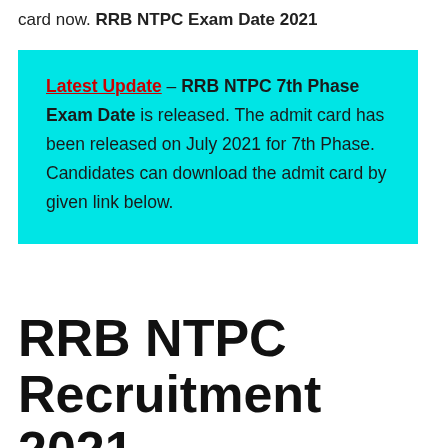card now. RRB NTPC Exam Date 2021
Latest Update – RRB NTPC 7th Phase Exam Date is released. The admit card has been released on July 2021 for 7th Phase. Candidates can download the admit card by given link below.
RRB NTPC Recruitment 2021 – 7th Phase Exam Date